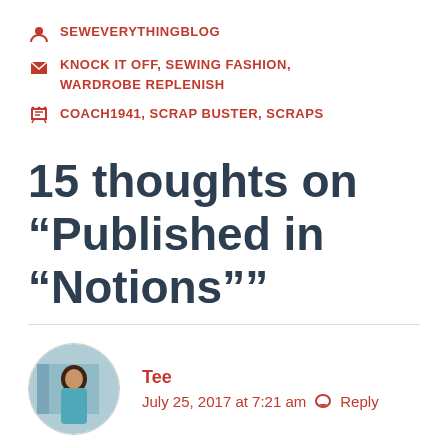SEWEVERYTHINGBLOG
KNOCK IT OFF, SEWING FASHION, WARDROBE REPLENISH
COACH1941, SCRAP BUSTER, SCRAPS
15 thoughts on “Published in “Notions””
Tee
July 25, 2017 at 7:21 am   Reply
I’m a proud member of the Maryland Chapter of ASG. Yes, yes I did read your wonderful article. So glad you